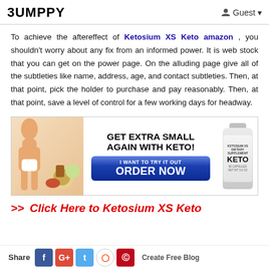BUMPPY  Guest
To achieve the aftereffect of Ketosium XS Keto amazon , you shouldn't worry about any fix from an informed power. It is web stock that you can get on the power page. On the alluding page give all of the subtleties like name, address, age, and contact subtleties. Then, at that point, pick the holder to purchase and pay reasonably. Then, at that point, save a level of control for a few working days for headway.
[Figure (photo): Advertisement banner showing a slim body, keto foods, text GET EXTRA SMALL AGAIN WITH KETO!, a blue button reading I WANT TO TRY IT OUT ORDER NOW, and a KETO supplement bottle on the right.]
>> Click Here to Ketosium XS Keto
Share  f  G+  t  (reddit)  (pinterest)  Create Free Blog